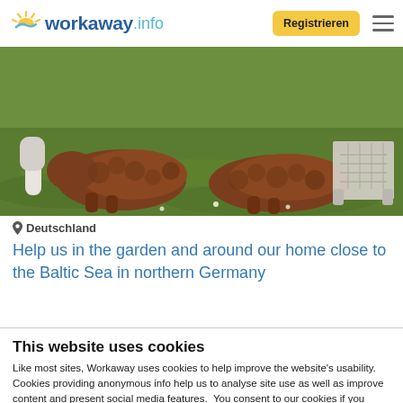workaway.info — Registrieren
[Figure (photo): Two brown curly-haired animals (likely alpacas or sheep) lying on green grass, with a white rattan chair visible in the background.]
Deutschland
Help us in the garden and around our home close to the Baltic Sea in northern Germany
This website uses cookies
Like most sites, Workaway uses cookies to help improve the website's usability. Cookies providing anonymous info help us to analyse site use as well as improve content and present social media features.  You consent to our cookies if you continue to use our website.
OK
Settings